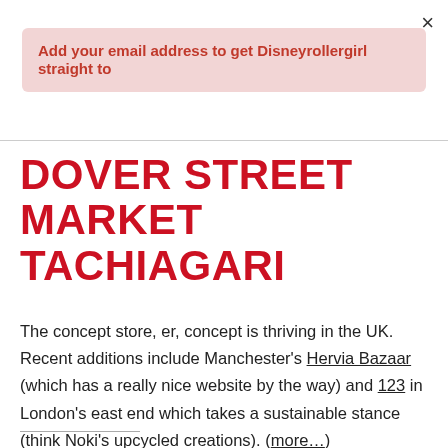×
Add your email address to get Disneyrollergirl straight to
DOVER STREET MARKET TACHIAGARI
The concept store, er, concept is thriving in the UK. Recent additions include Manchester's Hervia Bazaar (which has a really nice website by the way) and 123 in London's east end which takes a sustainable stance (think Noki's upcycled creations). (more…)